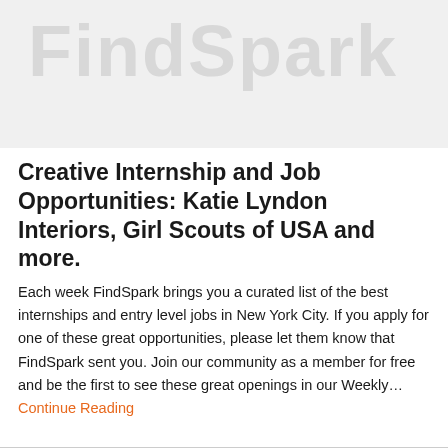[Figure (logo): FindSpark watermark/logo text in large light gray letters on a light gray background banner]
Creative Internship and Job Opportunities: Katie Lyndon Interiors, Girl Scouts of USA and more.
Each week FindSpark brings you a curated list of the best internships and entry level jobs in New York City. If you apply for one of these great opportunities, please let them know that FindSpark sent you. Join our community as a member for free and be the first to see these great openings in our Weekly…Continue Reading